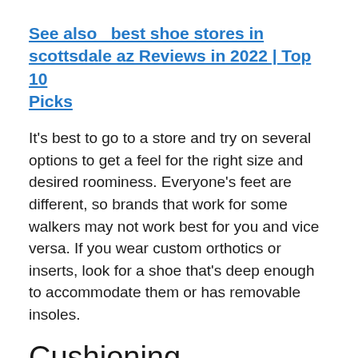See also  best shoe stores in scottsdale az Reviews in 2022 | Top 10 Picks
It's best to go to a store and try on several options to get a feel for the right size and desired roominess. Everyone's feet are different, so brands that work for some walkers may not work best for you and vice versa. If you wear custom orthotics or inserts, look for a shoe that's deep enough to accommodate them or has removable insoles.
Cushioning